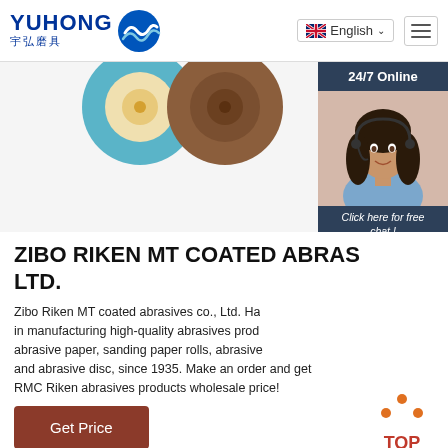[Figure (logo): Yuhong logo with blue wave icon and Chinese text 宇弘磨具]
[Figure (screenshot): Website screenshot showing abrasive product discs in hero image area]
[Figure (photo): 24/7 Online customer service widget with photo of woman wearing headset, dark blue background, chat and quotation button]
ZIBO RIKEN MT COATED ABRAS LTD.
Zibo Riken MT coated abrasives co., Ltd. Has been specializing in manufacturing high-quality abrasives products, including abrasive paper, sanding paper rolls, abrasive cloth belt and abrasive disc, since 1935. Make an order and get RMC Riken abrasives products wholesale price!
[Figure (illustration): TOP scroll-to-top button with orange dots forming upward arrow above red TOP text]